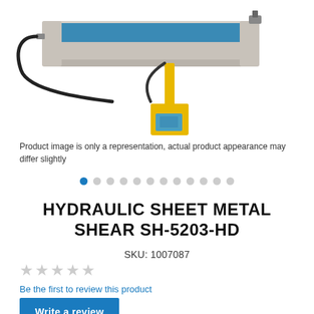[Figure (photo): Hydraulic sheet metal shear machine SH-5203-HD, shown in beige/gray and blue colors with a yellow foot pedal and black power cord, photographed from above at an angle.]
Product image is only a representation, actual product appearance may differ slightly
HYDRAULIC SHEET METAL SHEAR SH-5203-HD
SKU: 1007087
Be the first to review this product
Write a review